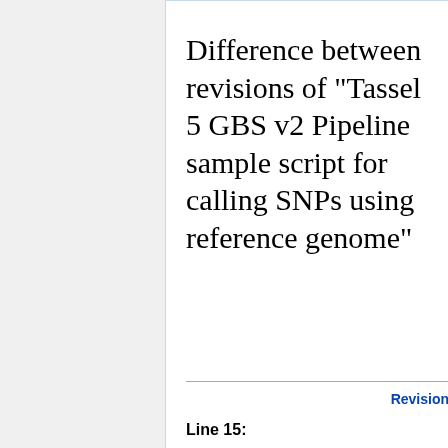Difference between revisions of "Tassel 5 GBS v2 Pipeline sample script for calling SNPs using reference genome"
Revision
Line 15: